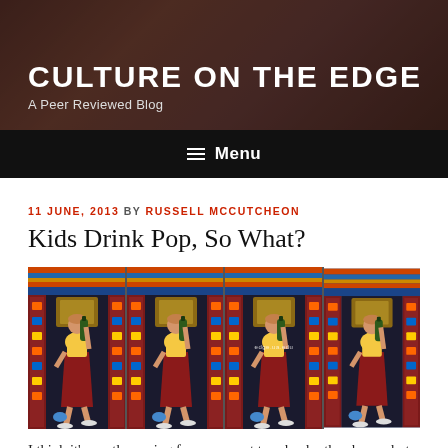CULTURE ON THE EDGE
A Peer Reviewed Blog
Menu
11 JUNE, 2013 BY RUSSELL MCCUTCHEON
Kids Drink Pop, So What?
[Figure (photo): Four identical panels showing a young child dressed in red and yellow Buddhist robes, drinking from a large green bottle, sitting in front of a colorfully decorated doorway. Watermark reads edge.ua.edu]
I think it's worth pausing for a moment to ask why the above photo (originally found here), recently used as the